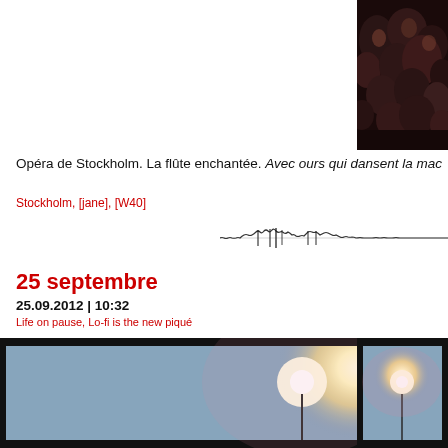[Figure (photo): Dark photo of a crowd of people at what appears to be a theater or opera performance, partially cropped on the left side.]
Opéra de Stockholm. La flûte enchantée. Avec ours qui dansent la mac
Stockholm, [jane], [W40]
[Figure (other): Audio waveform visualization showing a recorded sound clip.]
25 septembre
25.09.2012 | 10:32
Life on pause, Lo-fi is the new piqué
[Figure (photo): A lo-fi photograph showing a bright light source (possibly the sun) in a hazy sky, with what appears to be a pole or antenna in the lower portion. The image is framed with a dark border.]